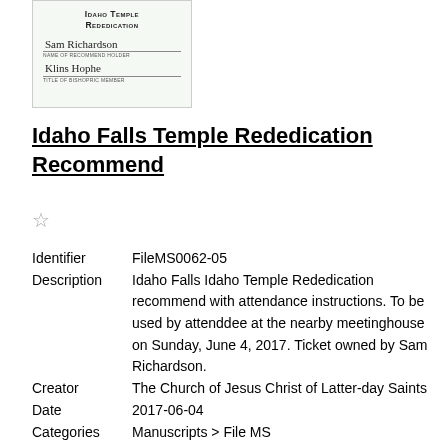[Figure (photo): Photograph of an Idaho Falls Temple Rededication recommend card with two signatures and printed text on a light green background.]
Idaho Falls Temple Rededication Recommend
☆
Identifier   FileMS0062-05
Description Idaho Falls Idaho Temple Rededication recommend with attendance instructions. To be used by attenddee at the nearby meetinghouse on Sunday, June 4, 2017. Ticket owned by Sam Richardson.
Creator   The Church of Jesus Christ of Latter-day Saints
Date   2017-06-04
Categories   Manuscripts > File MS